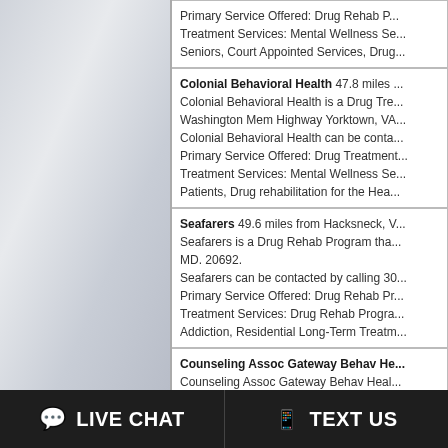Primary Service Offered: Drug Rehab P... Treatment Services: Mental Wellness Se... Seniors, Court Appointed Services, Drug...
Colonial Behavioral Health 47.8 miles ... Colonial Behavioral Health is a Drug Tre... Washington Mem Highway Yorktown, VA... Colonial Behavioral Health can be conta... Primary Service Offered: Drug Treatment... Treatment Services: Mental Wellness Se... Patients, Drug rehabilitation for the Hea...
Seafarers 49.6 miles from Hacksneck, V... Seafarers is a Drug Rehab Program tha... MD. 20692. Seafarers can be contacted by calling 30... Primary Service Offered: Drug Rehab Pr... Treatment Services: Drug Rehab Progra... Addiction, Residential Long-Term Treatm...
Counseling Assoc Gateway Behav He... Counseling Assoc Gateway Behav Heal... Milford Street Salisbury, MD. 21804. Counseling Assoc Gateway Behav Heal... Primary Service Offered: Drug Rehabilit... Treatment Services: Drug Rehab Progra...
LIVE CHAT   TEXT US